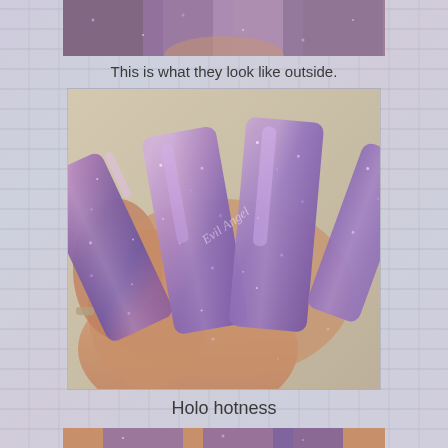[Figure (photo): Top partial photo of holographic/glitter nail polish on fingers, cropped view showing purple/mauve nails]
This is what they look like outside.
[Figure (photo): Close-up photo of hand with long nails painted in holographic glittery purple polish, photographed outdoors. A cursive watermark 'Evil Angel' is visible on the skin.]
Holo hotness
[Figure (photo): Bottom partial photo of nails, cropped at page bottom]